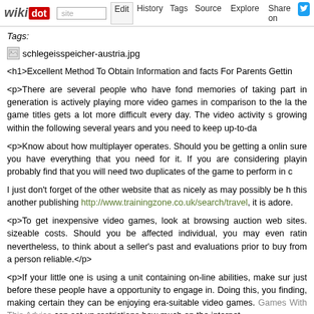wikidot | site Edit History Tags Source Explore Share on [Twitter]
Tags:
[Figure (photo): Broken image placeholder for schlegeisspeicher-austria.jpg]
schlegeisspeicher-austria.jpg
<h1>Excellent Method To Obtain Information and facts For Parents Getti...
<p>There are several people who have fond memories of taking part in... generation is actively playing more video games in comparison to the la... the game titles gets a lot more difficult every day. The video activity s... growing within the following several years and you need to keep up-to-da...
<p>Know about how multiplayer operates. Should you be getting a onlin... sure you have everything that you need for it. If you are considering playin... probably find that you will need two duplicates of the game to perform in c...
I just don't forget of the other website that as nicely as may possibly be h... this another publishing http://www.trainingzone.co.uk/search/travel, it is adore.
<p>To get inexpensive video games, look at browsing auction web sites. sizeable costs. Should you be affected individual, you may even ratin... nevertheless, to think about a seller's past and evaluations prior to buy... from a person reliable.</p>
<p>If your little one is using a unit containing on-line abilities, make su... just before these people have a opportunity to engage in. Doing this, you finding, making certain they can be enjoying era-suitable video games. Games With This Advice can set up restrictions how much on the internet